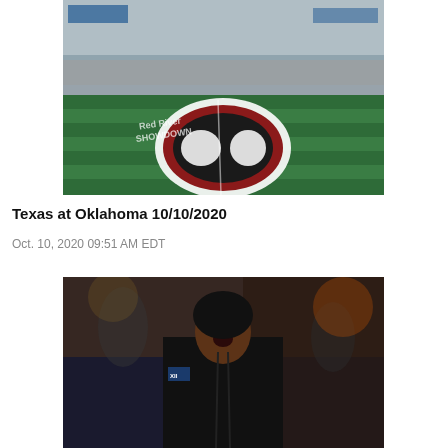[Figure (photo): Football stadium field showing the Red River Showdown logo painted at midfield, with the Texas Longhorns and Oklahoma OU logos, empty stadium seats visible in background.]
Texas at Oklahoma 10/10/2020
Oct. 10, 2020 09:51 AM EDT
[Figure (photo): Football player in dark uniform with XII conference patch, appearing to be celebrating or reacting with mouth open, blurred crowd in background.]